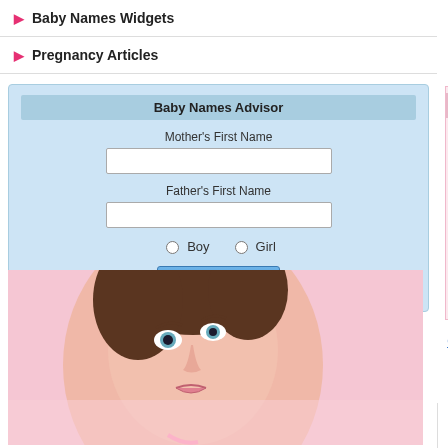Baby Names Widgets
Pregnancy Articles
Baby Names Advisor
Mother's First Name
Father's First Name
[Figure (photo): Young woman looking up thoughtfully, touching her chin]
Irish Girl Name - Alai
| Field | Value |
| --- | --- |
| Gender: | Female |
| Origin: | Irish |
| Meaning: | It's an Irish name. This name mea... for girls. It is a popular name. |
| Rating: | ☆☆☆☆☆ |
| Favorites: | ADD |
Click Here to put our
Previous
Have a friend r